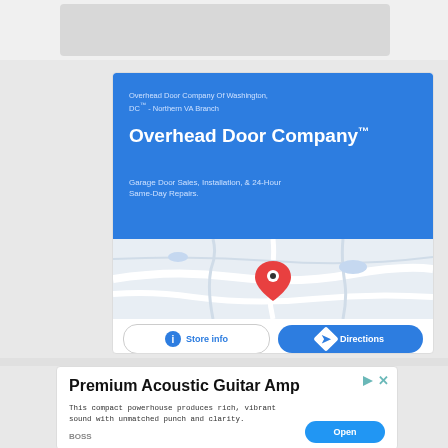[Figure (screenshot): Gray top navigation bar area]
[Figure (infographic): Advertisement for Overhead Door Company of Washington DC - Northern VA Branch. Blue header with company name, subtitle about garage door sales, installation and 24-hour same-day repairs. Map showing location with red pin. Store info and Directions buttons at bottom.]
[Figure (infographic): Advertisement for Premium Acoustic Guitar Amp by BOSS. Text: This compact powerhouse produces rich, vibrant sound with unmatched punch and clarity. Open button in blue.]